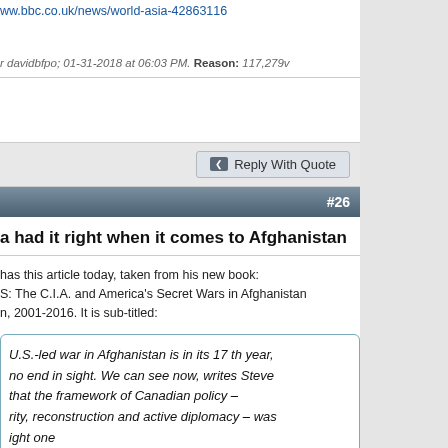ww.bbc.co.uk/news/world-asia-42863116
r davidbfpo; 01-31-2018 at 06:03 PM. Reason: 117,279v
Reply With Quote
#26
a had it right when it comes to Afghanistan
has this article today, taken from his new book:
S: The C.I.A. and America's Secret Wars in Afghanistan
n, 2001-2016. It is sub-titled:
U.S.-led war in Afghanistan is in its 17 th year, no end in sight. We can see now, writes Steve that the framework of Canadian policy – rity, reconstruction and active diplomacy – was ight one
k enables him to write, harshly about today:
y, in the American-led war's 17th year, U.S. and